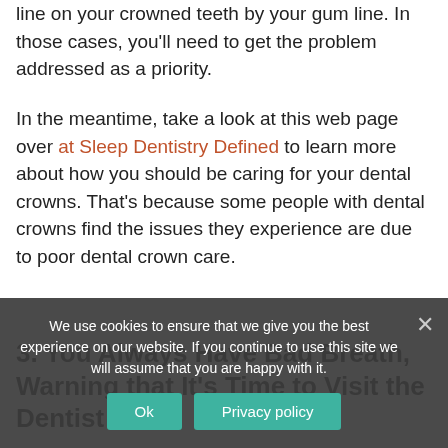line on your crowned teeth by your gum line. In those cases, you'll need to get the problem addressed as a priority.
In the meantime, take a look at this web page over at Sleep Dentistry Defined to learn more about how you should be caring for your dental crowns. That's because some people with dental crowns find the issues they experience are due to poor dental crown care.
3. You Always Have Bad Breath, Warning that It's Time to Visit the Dentist
One of the telltale signs that you have a consistent bad breath problem is when you need to consume… to mask the odors from your mouth. The truth is, your bad
We use cookies to ensure that we give you the best experience on our website. If you continue to use this site we will assume that you are happy with it.